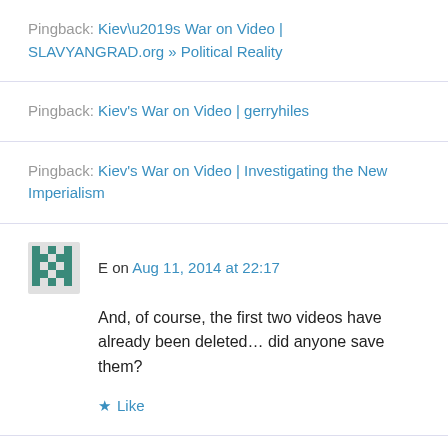Pingback: Kiev’s War on Video | SLAVYANGRAD.org » Political Reality
Pingback: Kiev’s War on Video | gerryhiles
Pingback: Kiev’s War on Video | Investigating the New Imperialism
E on Aug 11, 2014 at 22:17
And, of course, the first two videos have already been deleted… did anyone save them?
★ Like
Pingback: The File on Flight MH17 July 2014 – 2018 –